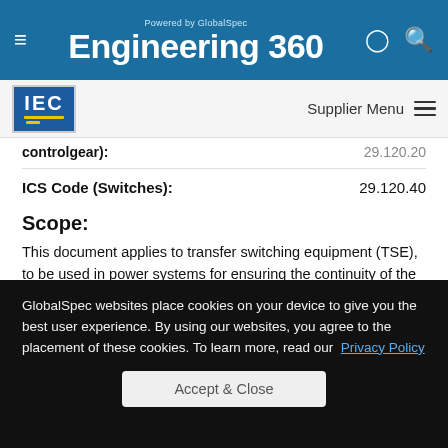Powered by GlobalSpec Engineering 360
[Figure (logo): IEC logo — blue rectangle with IEC text and yellow underline]
controlgear):  29.120.20
ICS Code (Switches): 29.120.40
Scope:
This document applies to transfer switching equipment (TSE), to be used in power systems for ensuring the continuity of the supply and allowing the energy management of the installation, by transferring a load between power supply sources, the rated voltage of which does not exceed 1 000 V AC or 1 500 V DC.
GlobalSpec websites place cookies on your device to give you the best user experience. By using our websites, you agree to the placement of these cookies. To learn more, read our Privacy Policy